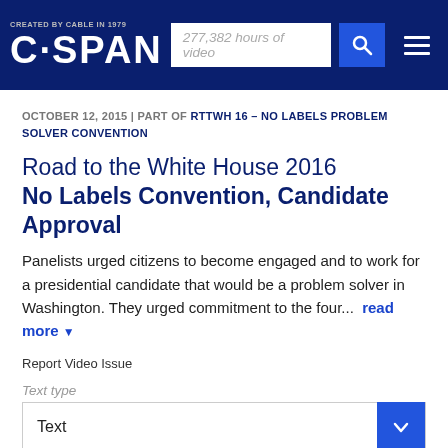CREATED BY CABLE IN 1979 C-SPAN | 277,382 hours of video
OCTOBER 12, 2015 | PART OF RTTWH 16 – NO LABELS PROBLEM SOLVER CONVENTION
Road to the White House 2016
No Labels Convention, Candidate Approval
Panelists urged citizens to become engaged and to work for a presidential candidate that would be a problem solver in Washington. They urged commitment to the four... read more
Report Video Issue
Text type
Text
Filter by Speaker
All Speakers